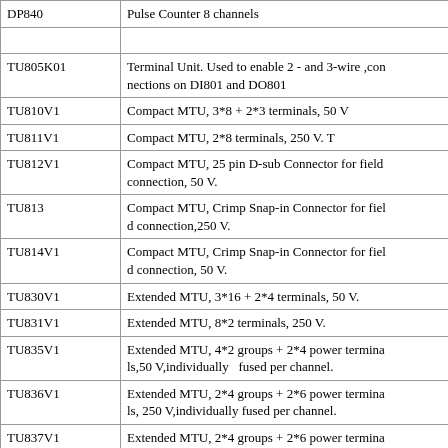| DP840 | Pulse Counter 8 channels |
|  |  |
| TU805K01 | Terminal Unit. Used to enable 2 - and 3-wire ,connections on DI801 and DO801 |
| TU810V1 | Compact MTU, 3*8 + 2*3 terminals, 50 V |
| TU811V1 | Compact MTU, 2*8 terminals, 250 V. T |
| TU812V1 | Compact MTU, 25 pin D-sub Connector for field connection, 50 V. |
| TU813 | Compact MTU, Crimp Snap-in Connector for field connection,250 V. |
| TU814V1 | Compact MTU, Crimp Snap-in Connector for field connection, 50 V. |
| TU830V1 | Extended MTU, 3*16 + 2*4 terminals, 50 V. |
| TU831V1 | Extended MTU, 8*2 terminals, 250 V. |
| TU835V1 | Extended MTU, 4*2 groups + 2*4 power terminals,50 V,individually   fused per channel. |
| TU836V1 | Extended MTU, 2*4 groups + 2*6 power terminals, 250 V,individually fused per channel. |
| TU837V1 | Extended MTU, 2*4 groups + 2*6 power terminals, 250 V,individually fused per channel. |
| TU838 | Extended MTU, 2*4 groups + 2*4 power return terminals, 50 V, fused. |